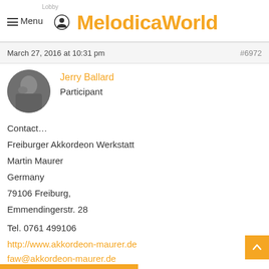MelodicaWorld
March 27, 2016 at 10:31 pm
#6972
Jerry Ballard
[Figure (photo): Circular avatar photo of Jerry Ballard, an older person playing a melodica]
Participant
Contact…
Freiburger Akkordeon Werkstatt
Martin Maurer
Germany
79106 Freiburg,
Emmendingerstr. 28
Tel. 0761 499106
http://www.akkordeon-maurer.de
faw@akkordeon-maurer.de